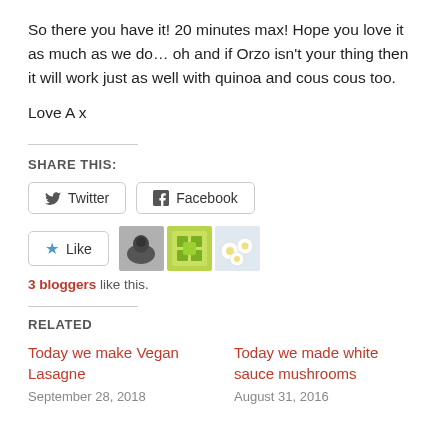So there you have it! 20 minutes max! Hope you love it as much as we do… oh and if Orzo isn't your thing then it will work just as well with quinoa and cous cous too.
Love A x
SHARE THIS:
Twitter  Facebook
[Figure (other): Like button with star icon and three blogger avatar thumbnails]
3 bloggers like this.
RELATED
Today we make Vegan Lasagne
September 28, 2018
Today we made white sauce mushrooms
August 31, 2016